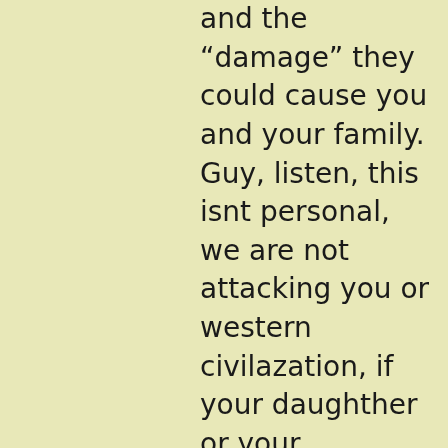and the “damage” they could cause you and your family. Guy, listen, this isnt personal, we are not attacking you or western civilazation, if your daughther or your neighbours daughter wants me to fuck her neither I or you will stop her and you know it, shel just find a way to get fucked, if not by me then someone else. I like your anger, but where we diverge is that i channell it into intensity while you channel it into hate. We